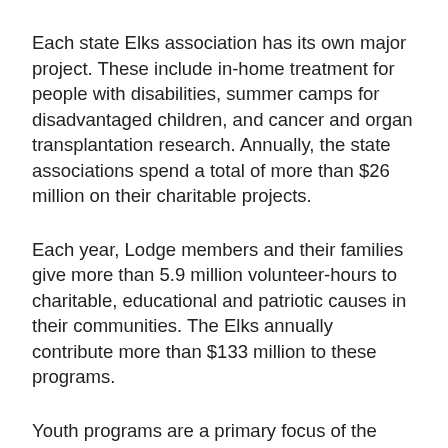Each state Elks association has its own major project. These include in-home treatment for people with disabilities, summer camps for disadvantaged children, and cancer and organ transplantation research. Annually, the state associations spend a total of more than $26 million on their charitable projects.
Each year, Lodge members and their families give more than 5.9 million volunteer-hours to charitable, educational and patriotic causes in their communities. The Elks annually contribute more than $133 million to these programs.
Youth programs are a primary focus of the Elks. Lodges sponsor more than 1,000 Scout troops and 3,000 Little League teams, as well as Boys and Girls Clubs. The Elks promote an Eagle Scout recognition program and provide two grants to each of the four Scouting regions. A grant of